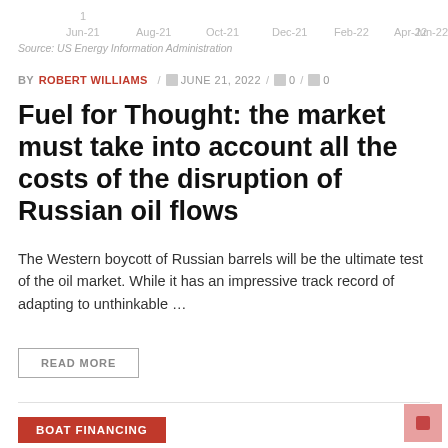[Figure (continuous-plot): Partial view of a time-series chart showing x-axis labels from Jun-21 to Jun-22 with a value of 1 visible at top]
Source: US Energy Information Administration
BY ROBERT WILLIAMS / JUNE 21, 2022 / 0 / 0
Fuel for Thought: the market must take into account all the costs of the disruption of Russian oil flows
The Western boycott of Russian barrels will be the ultimate test of the oil market. While it has an impressive track record of adapting to unthinkable ...
READ MORE
BOAT FINANCING